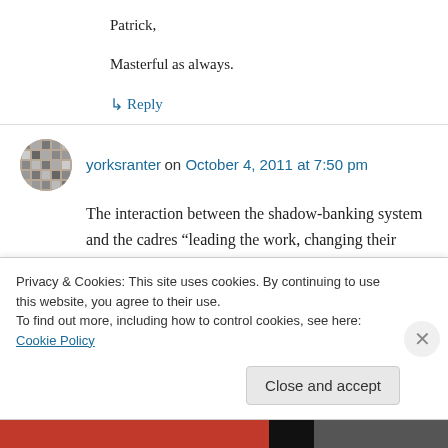Patrick,

Masterful as always.
↳ Reply
yorksranter on October 4, 2011 at 7:50 pm
The interaction between the shadow-banking system and the cadres “leading the work, changing their style, going to the grass-roots level and trying to solve problems” is clearly
Privacy & Cookies: This site uses cookies. By continuing to use this website, you agree to their use.
To find out more, including how to control cookies, see here: Cookie Policy
Close and accept